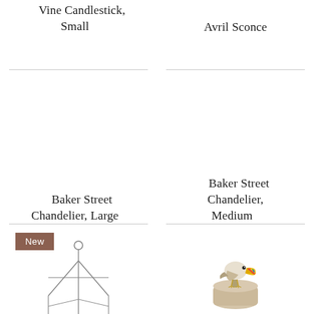Vine Candlestick, Small
Avril Sconce
Baker Street Chandelier, Large
Baker Street Chandelier, Medium
[Figure (illustration): A triangular hanging chandelier/lantern with metal arms and a small circular top hook, new product badge shown.]
[Figure (illustration): A colorful bird (toucan-like) perched on a rustic ceramic cup or pot.]